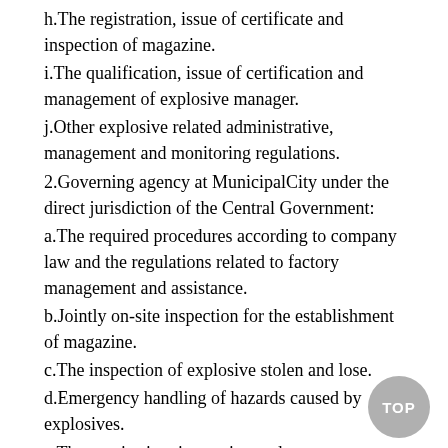h.The registration, issue of certificate and inspection of magazine.
i.The qualification, issue of certification and management of explosive manager.
j.Other explosive related administrative, management and monitoring regulations.
2.Governing agency at MunicipalCity under the direct jurisdiction of the Central Government:
a.The required procedures according to company law and the regulations related to factory management and assistance.
b.Jointly on-site inspection for the establishment of magazine.
c.The inspection of explosive stolen and lose.
d.Emergency handling of hazards caused by explosives.
e.The monitoring, inspection and emergency measures for explosives and their manufacturing, sale and usage.
f.Other items assigned by central governing agency.